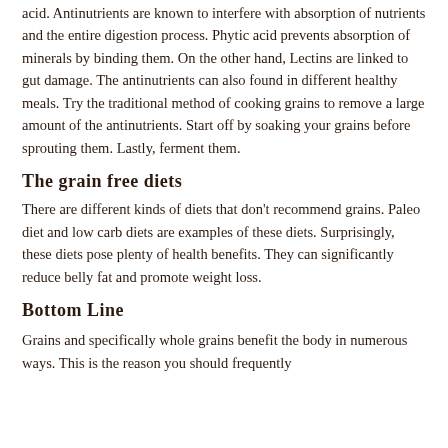acid. Antinutrients are known to interfere with absorption of nutrients and the entire digestion process. Phytic acid prevents absorption of minerals by binding them. On the other hand, Lectins are linked to gut damage. The antinutrients can also found in different healthy meals. Try the traditional method of cooking grains to remove a large amount of the antinutrients. Start off by soaking your grains before sprouting them. Lastly, ferment them.
The grain free diets
There are different kinds of diets that don't recommend grains. Paleo diet and low carb diets are examples of these diets. Surprisingly, these diets pose plenty of health benefits. They can significantly reduce belly fat and promote weight loss.
Bottom Line
Grains and specifically whole grains benefit the body in numerous ways. This is the reason you should frequently